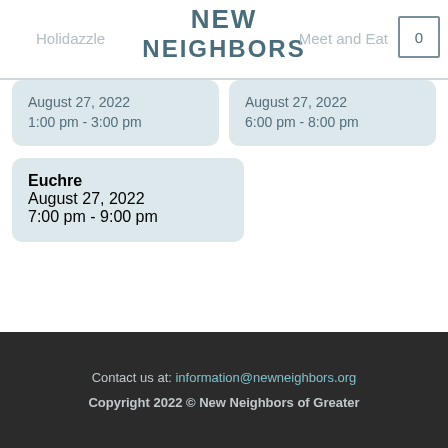Holidazzle   NEW NEIGHBORS   Meet and Eat   0
August 27, 2022
1:00 pm - 3:00 pm
August 27, 2022
6:00 pm - 8:00 pm
Euchre
August 27, 2022
7:00 pm - 9:00 pm
Contact us at: information@newneighbors.org
Copyright 2022 © New Neighbors of Greater